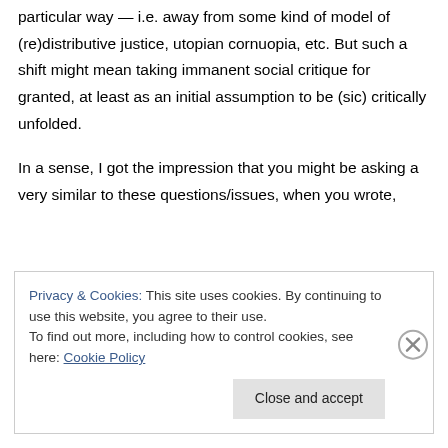particular way — i.e. away from some kind of model of (re)distributive justice, utopian cornuopia, etc. But such a shift might mean taking immanent social critique for granted, at least as an initial assumption to be (sic) critically unfolded.
In a sense, I got the impression that you might be asking a very similar to these questions/issues, when you wrote,
Privacy & Cookies: This site uses cookies. By continuing to use this website, you agree to their use.
To find out more, including how to control cookies, see here: Cookie Policy